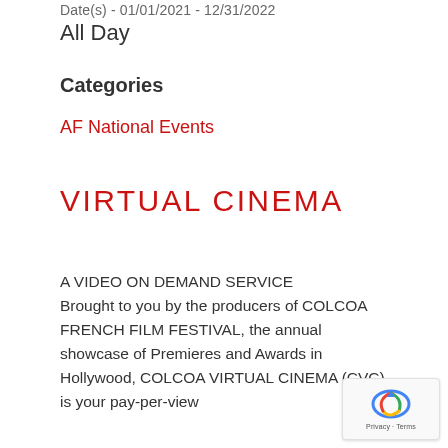Date(s) - 01/01/2021 - 12/31/2022
All Day
Categories
AF National Events
VIRTUAL CINEMA
A VIDEO ON DEMAND SERVICE Brought to you by the producers of COLCOA FRENCH FILM FESTIVAL, the annual showcase of Premieres and Awards in Hollywood, COLCOA VIRTUAL CINEMA (CVC) is your pay-per-view